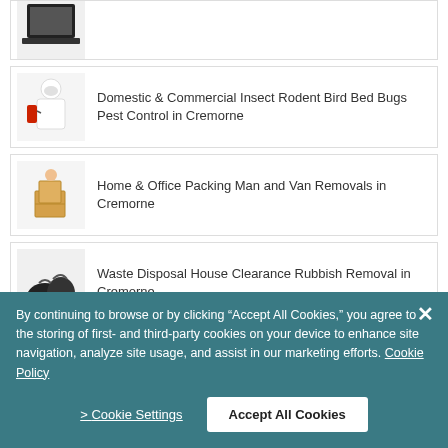[Figure (photo): Partial view of a laptop/computer thumbnail at the top]
Domestic & Commercial Insect Rodent Bird Bed Bugs Pest Control in Cremorne
Home & Office Packing Man and Van Removals in Cremorne
Waste Disposal House Clearance Rubbish Removal in Cremorne
Oriental Wool Synthetic Natural Fibre Dry Or Steam Rug Cleaning in Cremorne
By continuing to browse or by clicking “Accept All Cookies,” you agree to the storing of first- and third-party cookies on your device to enhance site navigation, analyze site usage, and assist in our marketing efforts. Cookie Policy